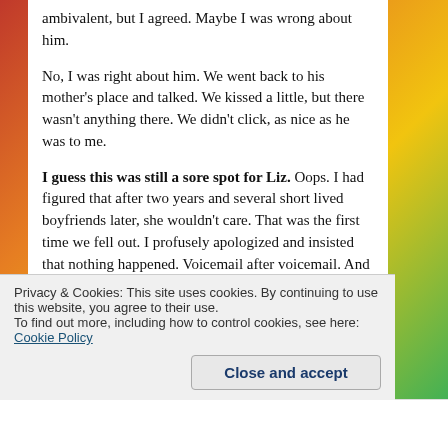ambivalent, but I agreed. Maybe I was wrong about him.
No, I was right about him. We went back to his mother's place and talked. We kissed a little, but there wasn't anything there. We didn't click, as nice as he was to me.
I guess this was still a sore spot for Liz. Oops. I had figured that after two years and several short lived boyfriends later, she wouldn't care. That was the first time we fell out. I profusely apologized and insisted that nothing happened. Voicemail after voicemail. And eventually, I had to stop. It was killing me.
We were speaking again in the fall. Everyone had scurried off to college but us. We were still in transition,
Privacy & Cookies: This site uses cookies. By continuing to use this website, you agree to their use.
To find out more, including how to control cookies, see here: Cookie Policy